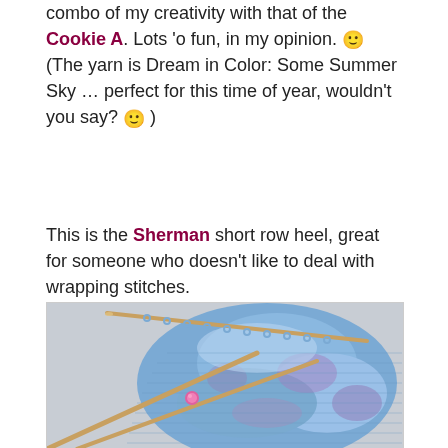combo of my creativity with that of the Cookie A. Lots 'o fun, in my opinion. 🙂 (The yarn is Dream in Color: Some Summer Sky … perfect for this time of year, wouldn't you say? 🙂 )
This is the Sherman short row heel, great for someone who doesn't like to deal with wrapping stitches.
[Figure (photo): Close-up photograph of blue and purple variegated knitting in progress on wooden double-pointed needles, with a pink stitch marker visible, showing a sock heel being worked.]